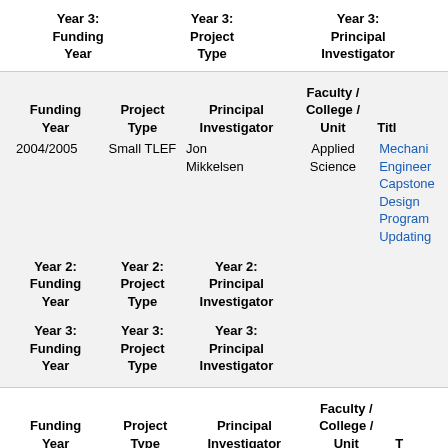| Year 3: Funding Year | Year 3: Project Type | Year 3: Principal Investigator |
| --- | --- | --- |
| Funding Year | Project Type | Principal Investigator | Faculty / College / Unit | Title |
| --- | --- | --- | --- | --- |
| 2004/2005 | Small TLEF | Jon Mikkelsen | Applied Science | Mechanical Engineering Capstone Design Program Updating |
| Year 2: Funding Year | Year 2: Project Type | Year 2: Principal Investigator |  |  |
| Year 3: Funding Year | Year 3: Project Type | Year 3: Principal Investigator |  |  |
| Funding Year | Project Type | Principal Investigator | Faculty / College / Unit | T... |
| --- | --- | --- | --- | --- |
| 2004/2005 | Small TLEF | ... | ... | A... |